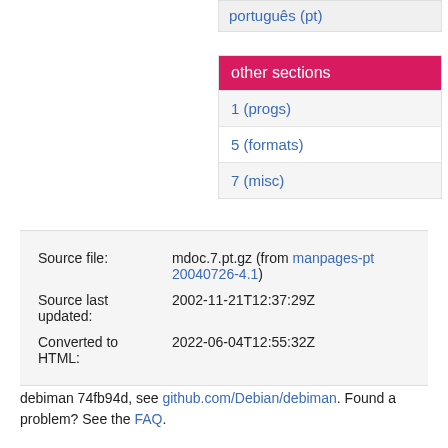português (pt)
other sections
1 (progs)
5 (formats)
7 (misc)
|  |  |
| --- | --- |
| Source file: | mdoc.7.pt.gz (from manpages-pt 20040726-4.1) |
| Source last updated: | 2002-11-21T12:37:29Z |
| Converted to HTML: | 2022-06-04T12:55:32Z |
debiman 74fb94d, see github.com/Debian/debiman. Found a problem? See the FAQ.